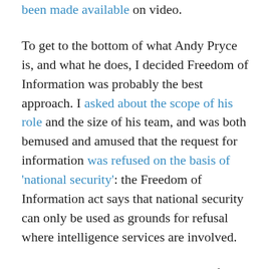been made available on video.
To get to the bottom of what Andy Pryce is, and what he does, I decided Freedom of Information was probably the best approach. I asked about the scope of his role and the size of his team, and was both bemused and amused that the request for information was refused on the basis of 'national security': the Freedom of Information act says that national security can only be used as grounds for refusal where intelligence services are involved.
Nearly a year since the submission of that question, the FCO's response is now under investigation by the Information Commissioner.